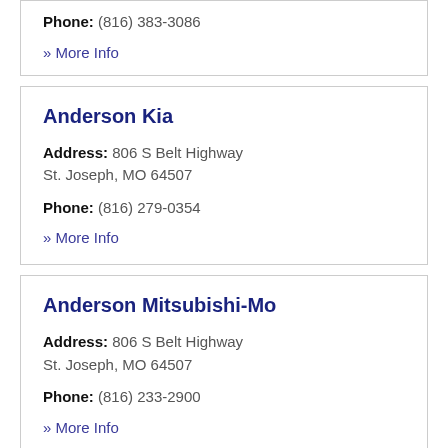Phone: (816) 383-3086
» More Info
Anderson Kia
Address: 806 S Belt Highway
St. Joseph, MO 64507
Phone: (816) 279-0354
» More Info
Anderson Mitsubishi-Mo
Address: 806 S Belt Highway
St. Joseph, MO 64507
Phone: (816) 233-2900
» More Info